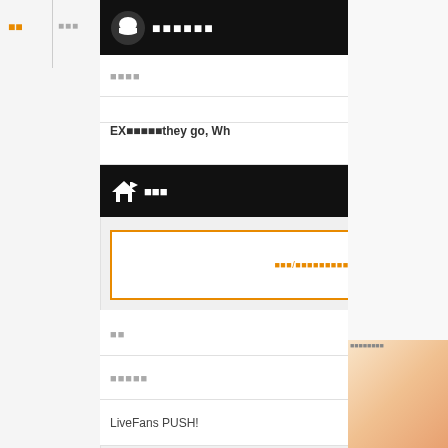■■■■■■
■■■■
■■■
■■
■■■■■
LiveFans PUSH!
■■■■■■■
■■■■
■■■■
EX■■■■■they go, Wh
R SONIC■12■■■■■■■■
N JAPAN FESTIVAL
DUSAND MILES TO